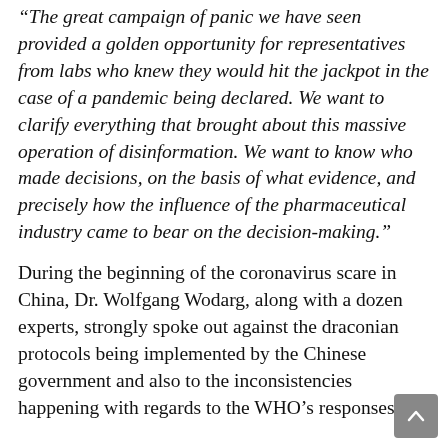"The great campaign of panic we have seen provided a golden opportunity for representatives from labs who knew they would hit the jackpot in the case of a pandemic being declared. We want to clarify everything that brought about this massive operation of disinformation. We want to know who made decisions, on the basis of what evidence, and precisely how the influence of the pharmaceutical industry came to bear on the decision-making."
During the beginning of the coronavirus scare in China, Dr. Wolfgang Wodarg, along with a dozen experts, strongly spoke out against the draconian protocols being implemented by the Chinese government and also to the inconsistencies happening with regards to the WHO's responses. Dr